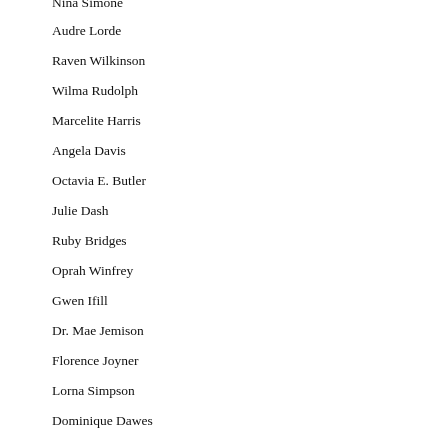Nina Simone
Audre Lorde
Raven Wilkinson
Wilma Rudolph
Marcelite Harris
Angela Davis
Octavia E. Butler
Julie Dash
Ruby Bridges
Oprah Winfrey
Gwen Ifill
Dr. Mae Jemison
Florence Joyner
Lorna Simpson
Dominique Dawes